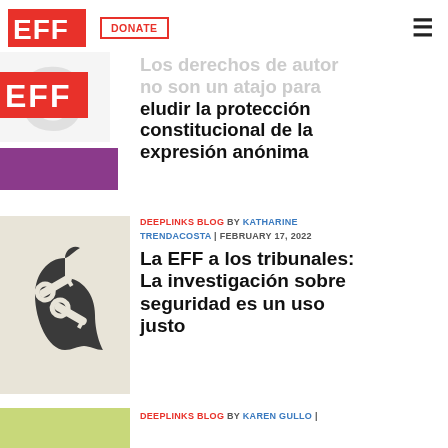EFF | DONATE | menu
Los derechos de autor no son un atajo para eludir la protección constitucional de la expresión anónima
[Figure (illustration): EFF logo with purple rectangle below on white background]
DEEPLINKS BLOG BY KATHARINE TRENDACOSTA | FEBRUARY 17, 2022
La EFF a los tribunales: La investigación sobre seguridad es un uso justo
[Figure (illustration): Apple logo shape with crossed keys icon on beige background]
DEEPLINKS BLOG BY KAREN GULLO |